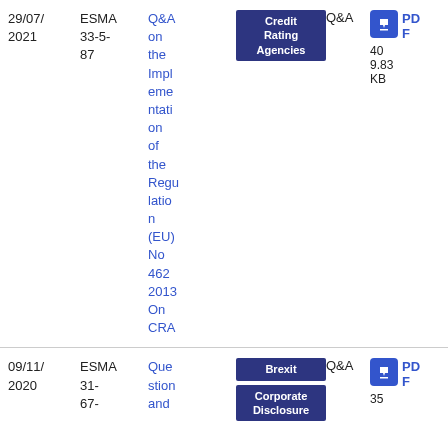| Date | Reference | Title | Tags | Type | Download |
| --- | --- | --- | --- | --- | --- |
| 29/07/2021 | ESMA 33-5-87 | Q&A on the Implementation of the Regulation (EU) No 462 2013 On CRA | Credit Rating Agencies | Q&A | PDF 409.83 KB |
| 09/11/2020 | ESMA 31-67- | Question and | Brexit, Corporate Disclosure | Q&A | PDF 35 |